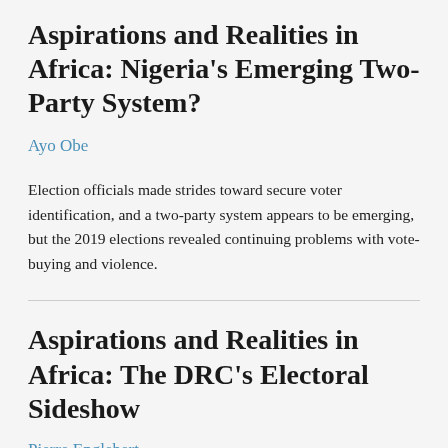Aspirations and Realities in Africa: Nigeria's Emerging Two-Party System?
Ayo Obe
Election officials made strides toward secure voter identification, and a two-party system appears to be emerging, but the 2019 elections revealed continuing problems with vote-buying and violence.
Aspirations and Realities in Africa: The DRC's Electoral Sideshow
Pierre Englebert